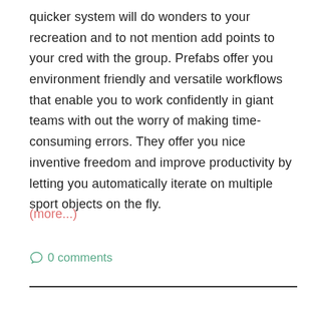quicker system will do wonders to your recreation and to not mention add points to your cred with the group. Prefabs offer you environment friendly and versatile workflows that enable you to work confidently in giant teams with out the worry of making time-consuming errors. They offer you nice inventive freedom and improve productivity by letting you automatically iterate on multiple sport objects on the fly.
(more...)
0 comments